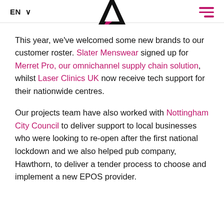EN ∨  [Logo]  [Menu]
This year, we've welcomed some new brands to our customer roster. Slater Menswear signed up for Merret Pro, our omnichannel supply chain solution, whilst Laser Clinics UK now receive tech support for their nationwide centres.
Our projects team have also worked with Nottingham City Council to deliver support to local businesses who were looking to re-open after the first national lockdown and we also helped pub company, Hawthorn, to deliver a tender process to choose and implement a new EPOS provider.